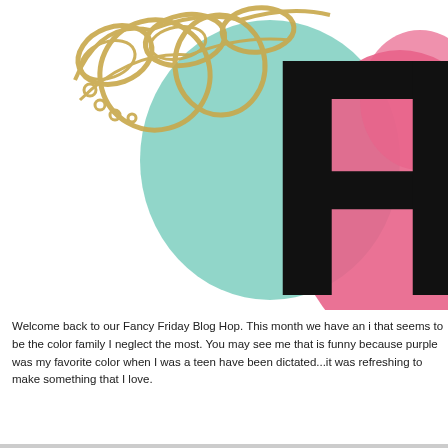[Figure (illustration): Partial view of a Fancy Friday Blog Hop logo/banner. Shows decorative gold chain letters at top left, large black bold letters 'FR' in the center-right, with mint green and pink color splashes/shapes behind the letters.]
Welcome back to our Fancy Friday Blog Hop. This month we have an i that seems to be the color family I neglect the most. You may see me that is funny because purple was my favorite color when I was a teen have been dictated...it was refreshing to make something that I love.